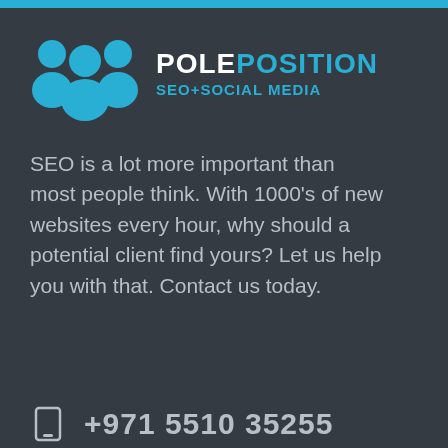[Figure (logo): Pole Position SEO+Social Media logo with three blue silhouette figures and brand name text]
SEO is a lot more important than most people think. With 1000's of new websites every hour, why should a potential client find yours? Let us help you with that. Contact us today.
+971 5510 35255